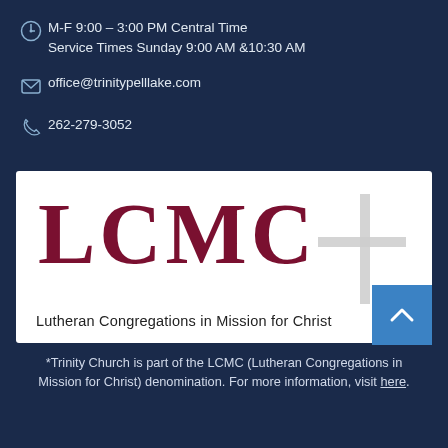M-F 9:00 - 3:00 PM Central Time
Service Times Sunday 9:00 AM & 10:30 AM
office@trinitypelllake.com
262-279-3052
[Figure (logo): LCMC logo — Lutheran Congregations in Mission for Christ — large dark red letters LCMC with a gray cross overlapping the C, subtitle text below]
*Trinity Church is part of the LCMC (Lutheran Congregations in Mission for Christ) denomination. For more information, visit here.